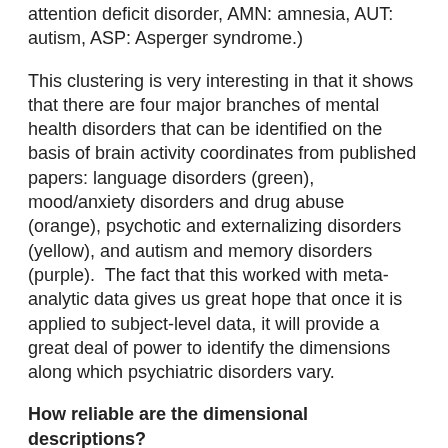attention deficit disorder, AMN: amnesia, AUT: autism, ASP: Asperger syndrome.)
This clustering is very interesting in that it shows that there are four major branches of mental health disorders that can be identified on the basis of brain activity coordinates from published papers: language disorders (green), mood/anxiety disorders and drug abuse (orange), psychotic and externalizing disorders (yellow), and autism and memory disorders (purple).  The fact that this worked with meta-analytic data gives us great hope that once it is applied to subject-level data, it will provide a great deal of power to identify the dimensions along which psychiatric disorders vary.
How reliable are the dimensional descriptions?
The move towards RDoC as a basis for mental health research also raises the question of reliability.  The strength of the DSM was that its diagnoses were reliable, in the sense that two different psychiatrists, shown the same symptoms, are highly likely to make the same diagnosis.  How will we